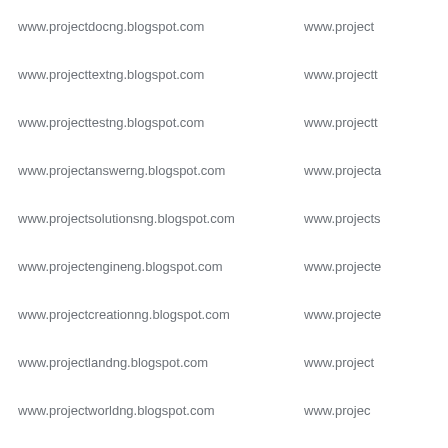www.projectdocng.blogspot.com
www.projecttextng.blogspot.com
www.projecttestng.blogspot.com
www.projectanswerng.blogspot.com
www.projectsolutionsng.blogspot.com
www.projectengineng.blogspot.com
www.projectcreationng.blogspot.com
www.projectlandng.blogspot.com
www.projectworldng.blogspot.com